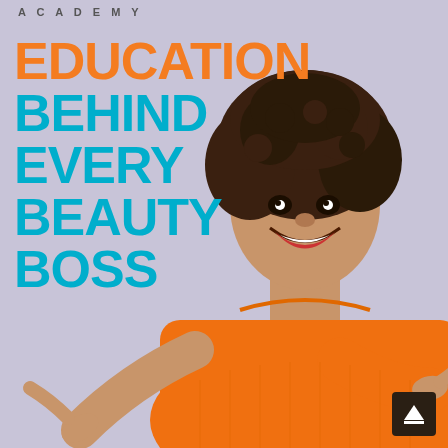ACADEMY
EDUCATION BEHIND EVERY BEAUTY BOSS
[Figure (photo): A smiling young woman with natural afro hair wearing an orange sweater, pointing both index fingers to the left against a lavender/purple background. The image is used as an advertisement for an academy promoting beauty education.]
[Figure (other): Dark square navigation button with an upward-pointing white arrow in the bottom-right corner of the page.]